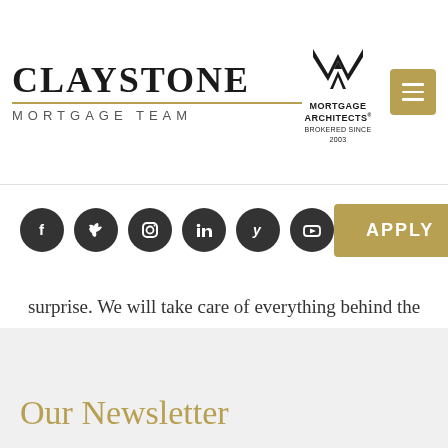[Figure (logo): Claystone Mortgage Team logo with gold horizontal line and Mortgage Architects logo with hamburger menu button]
[Figure (infographic): Six social media icon circles (Facebook, Twitter, Instagram, LinkedIn, Yelp, YouTube) and an Apply button in gold]
surprise. We will take care of everything behind the scenes so you can focus on what matters to you.
Our Newsletter